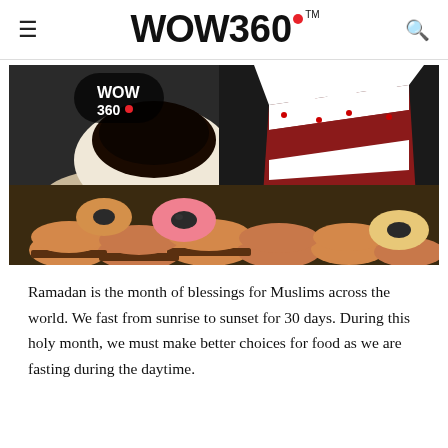WOW 360™
[Figure (photo): A collage of food items: a cup of black coffee, a red velvet cake slice with white cream frosting, donuts (including a pink frosted donut), multiple burgers/sliders stacked together, and other pastries. The WOW 360 watermark logo is visible in the top-left corner of the image.]
Ramadan is the month of blessings for Muslims across the world. We fast from sunrise to sunset for 30 days. During this holy month, we must make better choices for food as we are fasting during the daytime.